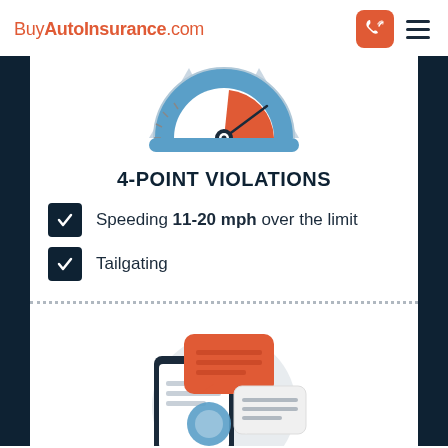[Figure (logo): BuyAutoInsurance.com logo in orange/red text with phone icon button and hamburger menu]
[Figure (illustration): Speedometer/gauge illustration with blue and orange-red sections, needle pointing to the right (high) zone]
4-POINT VIOLATIONS
Speeding 11-20 mph over the limit
Tailgating
[Figure (illustration): Illustration of a smartphone with chat/message bubbles in orange-red and light gray, and a circular blue element, representing digital communication]